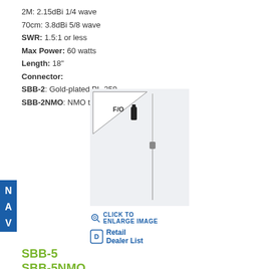2M:  2.15dBi 1/4 wave
70cm: 3.8dBi 5/8 wave
SWR: 1.5:1 or less
Max Power:  60 watts
Length:  18"
Connector:
SBB-2: Gold-plated PL-259
SBB-2NMO:  NMO type
[Figure (illustration): Sidebar with blue background and letters N, A, V stacked vertically]
[Figure (photo): Antenna product image with F/O triangle badge logo and thin vertical antenna against light background]
CLICK TO ENLARGE IMAGE
Retail Dealer List
SBB-5
SBB-5NMO